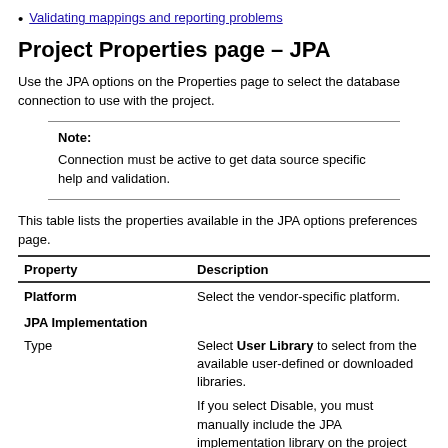Validating mappings and reporting problems
Project Properties page – JPA
Use the JPA options on the Properties page to select the database connection to use with the project.
Note:
Connection must be active to get data source specific help and validation.
This table lists the properties available in the JPA options preferences page.
| Property | Description |
| --- | --- |
| Platform | Select the vendor-specific platform. |
| JPA Implementation |  |
| Type | Select User Library to select from the available user-defined or downloaded libraries.

If you select Disable, you must manually include the JPA implementation library on the project |